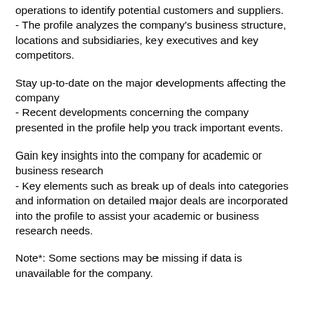operations to identify potential customers and suppliers.
- The profile analyzes the company's business structure, locations and subsidiaries, key executives and key competitors.
Stay up-to-date on the major developments affecting the company
- Recent developments concerning the company presented in the profile help you track important events.
Gain key insights into the company for academic or business research
- Key elements such as break up of deals into categories and information on detailed major deals are incorporated into the profile to assist your academic or business research needs.
Note*: Some sections may be missing if data is unavailable for the company.